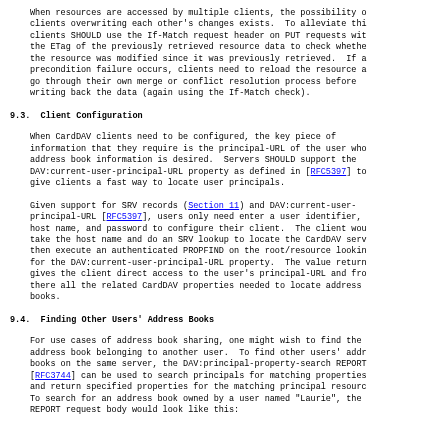When resources are accessed by multiple clients, the possibility of clients overwriting each other's changes exists. To alleviate this clients SHOULD use the If-Match request header on PUT requests with the ETag of the previously retrieved resource data to check whether the resource was modified since it was previously retrieved. If a precondition failure occurs, clients need to reload the resource and go through their own merge or conflict resolution process before writing back the data (again using the If-Match check).
9.3.  Client Configuration
When CardDAV clients need to be configured, the key piece of information that they require is the principal-URL of the user whose address book information is desired. Servers SHOULD support the DAV:current-user-principal-URL property as defined in [RFC5397] to give clients a fast way to locate user principals.
Given support for SRV records (Section 11) and DAV:current-user-principal-URL [RFC5397], users only need enter a user identifier, host name, and password to configure their client. The client would take the host name and do an SRV lookup to locate the CardDAV server, then execute an authenticated PROPFIND on the root/resource looking for the DAV:current-user-principal-URL property. The value returned gives the client direct access to the user's principal-URL and from there all the related CardDAV properties needed to locate address books.
9.4.  Finding Other Users' Address Books
For use cases of address book sharing, one might wish to find the address book belonging to another user. To find other users' address books on the same server, the DAV:principal-property-search REPORT [RFC3744] can be used to search principals for matching properties and return specified properties for the matching principal resources. To search for an address book owned by a user named "Laurie", the REPORT request body would look like this: